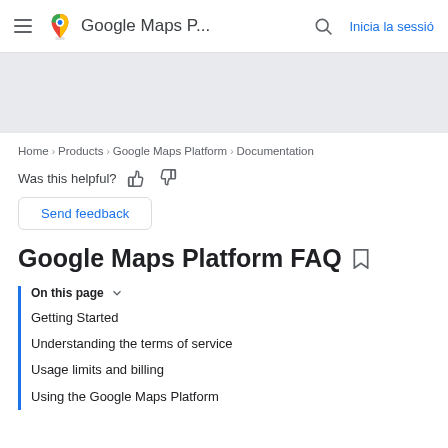Google Maps P... | Inicia la sessió
[Figure (other): Gray banner/hero area placeholder]
Home > Products > Google Maps Platform > Documentation
Was this helpful? [thumbs up] [thumbs down]
Send feedback
Google Maps Platform FAQ
On this page
Getting Started
Understanding the terms of service
Usage limits and billing
Using the Google Maps Platform